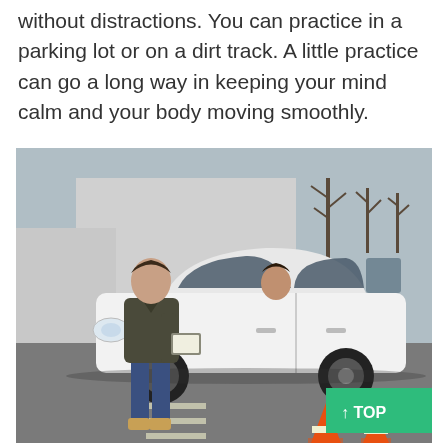without distractions. You can practice in a parking lot or on a dirt track. A little practice can go a long way in keeping your mind calm and your body moving smoothly.
[Figure (photo): A driving instructor stands outside a white car with a clipboard, while a student sits in the driver seat. Orange traffic cones are visible in the background on a parking lot.]